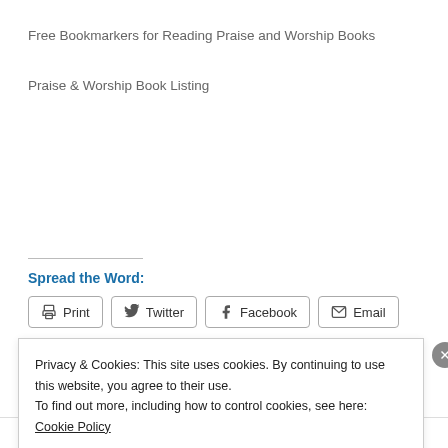Free Bookmarkers for Reading Praise and Worship Books
Praise & Worship Book Listing
Spread the Word:
Print  Twitter  Facebook  Email
Privacy & Cookies: This site uses cookies. By continuing to use this website, you agree to their use.
To find out more, including how to control cookies, see here: Cookie Policy
Close and accept
same page is easy. And free.